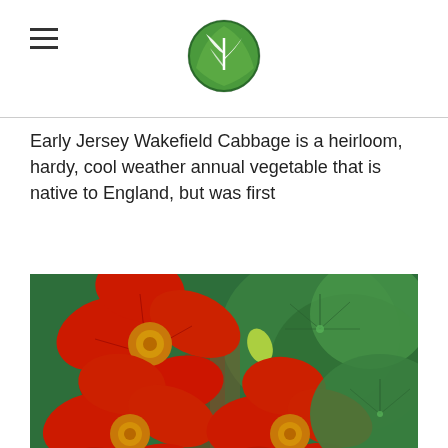Navigation menu icon and circular green leaf logo
Early Jersey Wakefield Cabbage is a heirloom, hardy, cool weather annual vegetable that is native to England, but was first
[Figure (other): Shop button - blue/teal rectangular button with text 'Shop']
[Figure (photo): Close-up photograph of bright red nasturtium flowers with yellow-green centers, surrounded by large round dark green leaves with radiating veins]